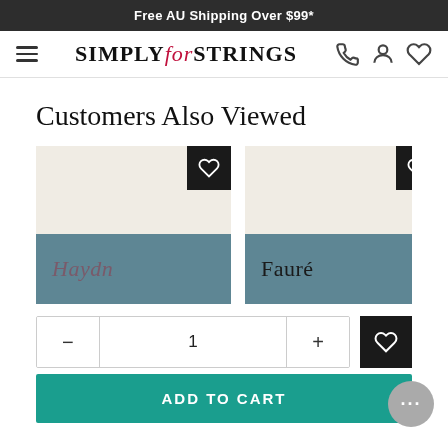Free AU Shipping Over $99*
[Figure (logo): Simply for Strings logo with hamburger menu and nav icons]
Customers Also Viewed
[Figure (other): Two product cards: Haydn and Fauré with wishlist buttons]
[Figure (other): Quantity selector row with minus, 1, plus and wishlist button, ADD TO CART button]